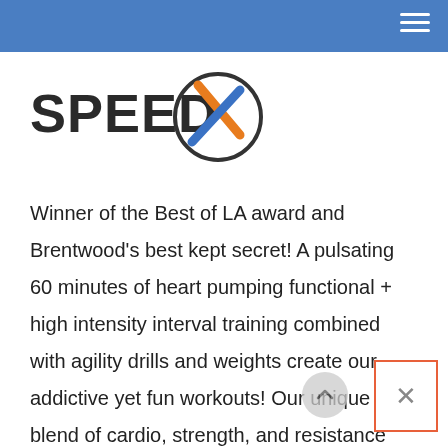SpeedX - navigation header bar
[Figure (logo): SpeedX logo with bold dark text 'SPEEDX' and a circular emblem with an orange and blue X mark]
Winner of the Best of LA award and Brentwood's best kept secret! A pulsating 60 minutes of heart pumping functional + high intensity interval training combined with agility drills and weights create our addictive yet fun workouts! Our unique blend of cardio, strength, and resistance based sessions that use traditional equipment in